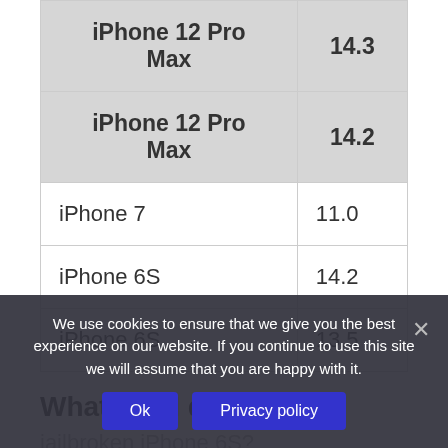| Device | iOS Version |
| --- | --- |
| iPhone 12 Pro Max | 14.3 |
| iPhone 12 Pro Max | 14.2 |
| iPhone 7 | 11.0 |
| iPhone 6S | 14.2 |
| iPhone 6S | 13.5 |
What can I do with a
jailbroken iPhone 6S?
If you have already taken your... will looking for more ways to
We use cookies to ensure that we give you the best experience on our website. If you continue to use this site we will assume that you are happy with it.